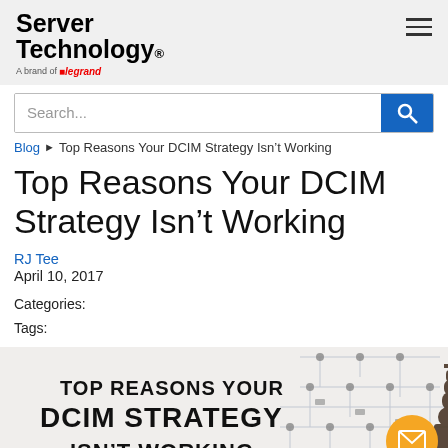Server Technology. A brand of Legrand
Search...
Blog ▶ Top Reasons Your DCIM Strategy Isn't Working
Top Reasons Your DCIM Strategy Isn't Working
RJ Tee
April 10, 2017
Categories:
Tags:
[Figure (infographic): Banner image with text 'TOP REASONS YOUR DCIM STRATEGY ISN'T WORKING' overlaid on a background with circuit diagram imagery and a chess piece (king). An orange email/envelope button appears in the bottom right.]